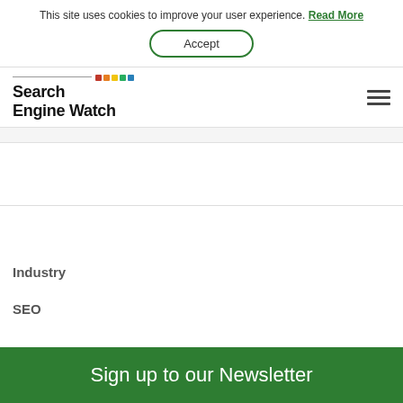This site uses cookies to improve your user experience. Read More
Accept
[Figure (logo): Search Engine Watch logo with colored dots and horizontal line above bold text]
Industry
SEO
Sign up to our Newsletter